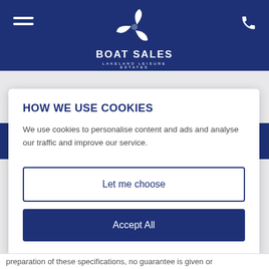[Figure (logo): Boat Sales Lakeland Leisure Estates logo — white propeller icon above text 'BOAT SALES' and 'LAKELAND LEISURE ESTATES' on navy background]
HOW WE USE COOKIES
We use cookies to personalise content and ads and analyse our traffic and improve our service.
Let me choose
Accept All
preparation of these specifications, no guarantee is given or